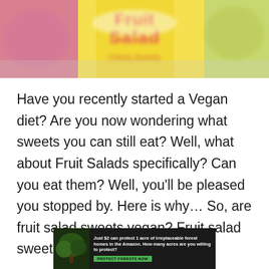[Figure (photo): Blurred product packaging image showing 'Fruit Salad' candy/sweets in pink and yellow color scheme]
Have you recently started a Vegan diet? Are you now wondering what sweets you can still eat? Well, what about Fruit Salads specifically? Can you eat them? Well, you’ll be pleased you stopped by. Here is why… So, are fruit salad sweets vegan? Fruit salad sweets are not vegan.
[Figure (infographic): Ad banner: forest/nature background on left. Text reads 'Just $2 can protect 1 acre of irreplaceable forest homes in the Amazon. How many acres are you willing to protect?' with a green 'PROTECT FORESTS NOW' button.]